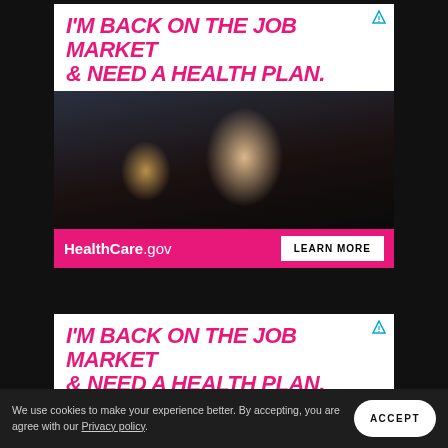[Figure (screenshot): Healthcare.gov advertisement banner. White background with bold italic pink text reading 'I'M BACK ON THE JOB MARKET & NEED A HEALTH PLAN.' with a small ad icon. Below is a photo of a woman working on a laptop with a dog beside her in a dark room. Below the photo is a pink bar with 'HealthCare.gov LEARN MORE' button.]
[Figure (screenshot): Partial repeat of the same Healthcare.gov advertisement banner at the bottom of the page, showing only the headline text 'I'M BACK ON THE JOB MARKET & NEED A HEALTH PLAN.']
We use cookies to make your experience better. By accepting, you are agree with our Privacy policy.